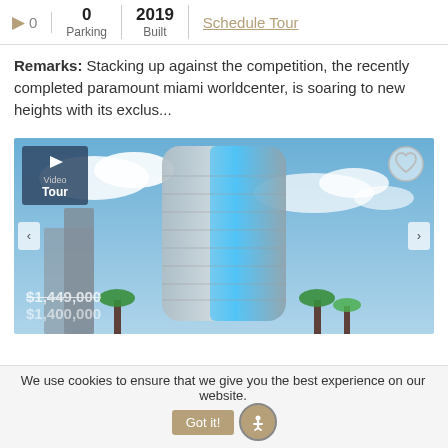0 | 0 Parking | 2019 Built | Schedule Tour
Remarks: Stacking up against the competition, the recently completed paramount miami worldcenter, is soaring to new heights with its exclus...
[Figure (photo): Tall luxury condominium tower (Paramount Miami Worldcenter) against a blue cloudy sky, with palm trees at the base. Overlaid with a Video Tour badge, heart icon, navigation arrows, and price labels ($1,449,000 crossed out and another price below).]
We use cookies to ensure that we give you the best experience on our website. Got it!